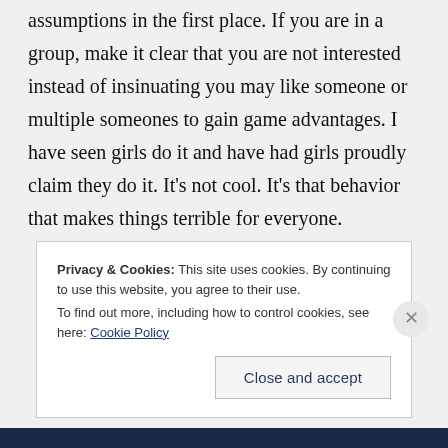assumptions in the first place. If you are in a group, make it clear that you are not interested instead of insinuating you may like someone or multiple someones to gain game advantages. I have seen girls do it and have had girls proudly claim they do it. It's not cool. It's that behavior that makes things terrible for everyone.
Privacy & Cookies: This site uses cookies. By continuing to use this website, you agree to their use.
To find out more, including how to control cookies, see here: Cookie Policy